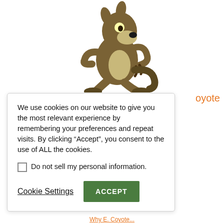[Figure (illustration): Wile E. Coyote cartoon character crouching in a scheming pose, brown colored, classic Looney Tunes style illustration]
oyote
We use cookies on our website to give you the most relevant experience by remembering your preferences and repeat visits. By clicking “Accept”, you consent to the use of ALL the cookies.
Do not sell my personal information.
Cookie Settings
ACCEPT
Why E. Coyote...